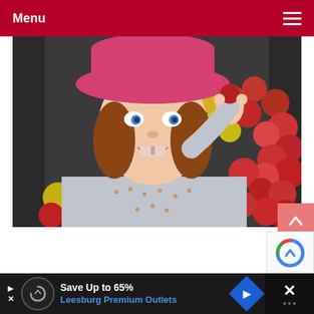Menu
[Figure (photo): Young girl wearing a pink wide-brim hat and grey top with small studs, smiling and holding up an apple. Background shows bins of apples at what appears to be a market or farm stand.]
[Figure (other): Back-to-top button: pink/salmon square with upward chevron arrow]
[Figure (other): reCAPTCHA badge (partial, bottom right)]
Save Up to 65%
Leesburg Premium Outlets